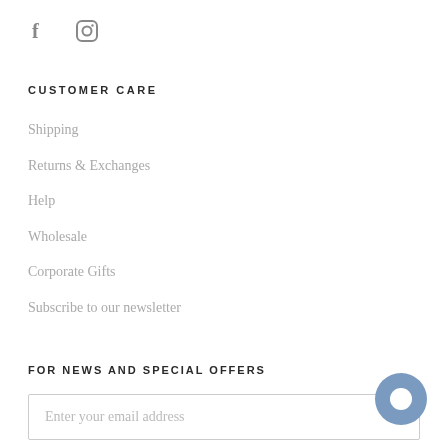[Figure (illustration): Social media icons: Facebook (f) and Instagram (circle with rounded square outline)]
CUSTOMER CARE
Shipping
Returns & Exchanges
Help
Wholesale
Corporate Gifts
Subscribe to our newsletter
FOR NEWS AND SPECIAL OFFERS
Enter your email address
[Figure (illustration): Blue circular chat bubble icon in the bottom right corner]